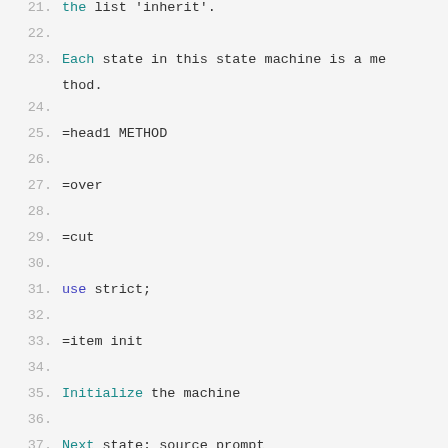Code listing lines 21-45 showing Perl/POD source code for a state machine implementation
[Figure (screenshot): Source code listing showing Perl code with line numbers 21-45, featuring POD documentation and Perl syntax with colored keywords]